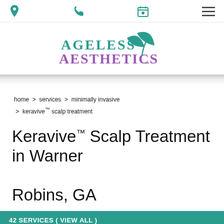Navigation bar with location, phone, calendar, and menu icons
[Figure (logo): Ageless Aesthetics logo with teal leaf design and purple text]
home > services > minimally invasive > keravive™ scalp treatment
Keravive™ Scalp Treatment in Warner Robins, GA
42 SERVICES ( VIEW ALL )
11 MINIMALLY INVASIVE SERVICES